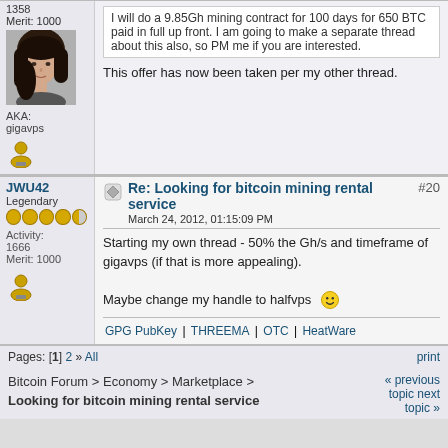1358
Merit: 1000
[Figure (photo): Avatar photo of a woman with dark hair]
I will do a 9.85Gh mining contract for 100 days for 650 BTC paid in full up front. I am going to make a separate thread about this also, so PM me if you are interested.
This offer has now been taken per my other thread.
AKA:
gigavps
[Figure (illustration): Trust/user icon]
JWU42
Legendary
Re: Looking for bitcoin mining rental service
#20
March 24, 2012, 01:15:09 PM
Activity: 1666
Merit: 1000
Starting my own thread - 50% the Gh/s and timeframe of gigavps (if that is more appealing).

Maybe change my handle to halfvps 😊
[Figure (illustration): Trust/user icon for JWU42]
GPG PubKey | THREEMA | OTC | HeatWare
Pages: [1] 2 » All    print
Bitcoin Forum > Economy > Marketplace > Looking for bitcoin mining rental service     « previous topic next topic »